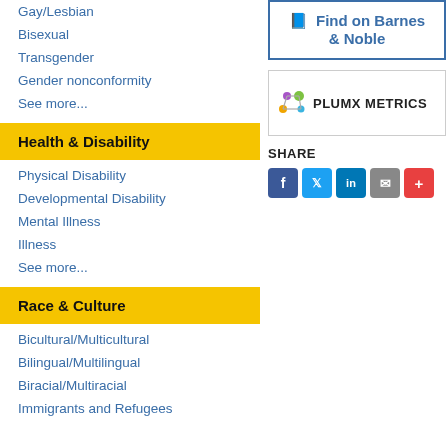Gay/Lesbian
Bisexual
Transgender
Gender nonconformity
See more...
Health & Disability
Physical Disability
Developmental Disability
Mental Illness
Illness
See more...
Race & Culture
Bicultural/Multicultural
Bilingual/Multilingual
Biracial/Multiracial
Immigrants and Refugees
[Figure (other): Find on Barnes & Noble button link]
[Figure (other): PlumX Metrics widget]
SHARE
[Figure (other): Social share buttons: Facebook, Twitter, LinkedIn, Email, More]